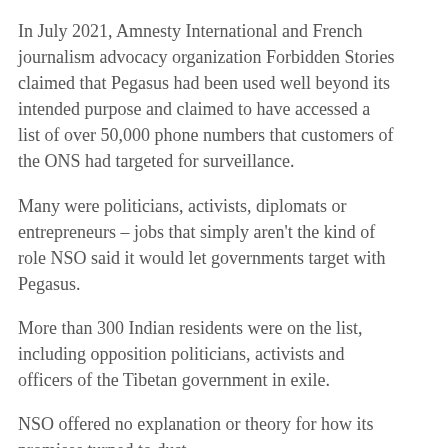In July 2021, Amnesty International and French journalism advocacy organization Forbidden Stories claimed that Pegasus had been used well beyond its intended purpose and claimed to have accessed a list of over 50,000 phone numbers that customers of the ONS had targeted for surveillance.
Many were politicians, activists, diplomats or entrepreneurs – jobs that simply aren't the kind of role NSO said it would let governments target with Pegasus.
More than 300 Indian residents were on the list, including opposition politicians, activists and officers of the Tibetan government in exile.
NSO offered no explanation or theory for how its promises turned to dust.
The New York Times reported that Prime Minister Narendra Modi bought Pegasus in 2017 as part of a comprehensive arms deal worth around $2 billion, but Indian politicians have resisted admitting its acquisition or use.
The mere implication that the Indian government had turned